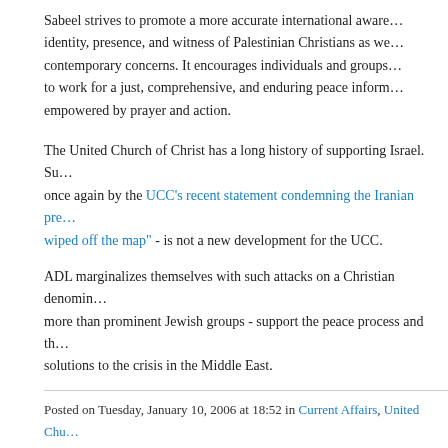Sabeel strives to promote a more accurate international awareness of the identity, presence, and witness of Palestinian Christians as well as their contemporary concerns. It encourages individuals and groups to work for a just, comprehensive, and enduring peace informed and empowered by prayer and action.
The United Church of Christ has a long history of supporting Israel. Support once again by the UCC's recent statement condemning the Iranian president's call to have Israel "wiped off the map" - is not a new development for the UCC.
ADL marginalizes themselves with such attacks on a Christian denomination - more than prominent Jewish groups - support the peace process and the two-state solutions to the crisis in the Middle East.
Posted on Tuesday, January 10, 2006 at 18:52 in Current Affairs, United Church... | Comments (14) | TrackBack (1)
[Figure (other): Tweet, Pin it, and Like 0 social sharing buttons]
MONDAY, JANUARY 09, 2006
Catholic Group Calls For Abolition Of Nuclear Weapons
It really has become easy since the end of the Cold War to stop thinking...